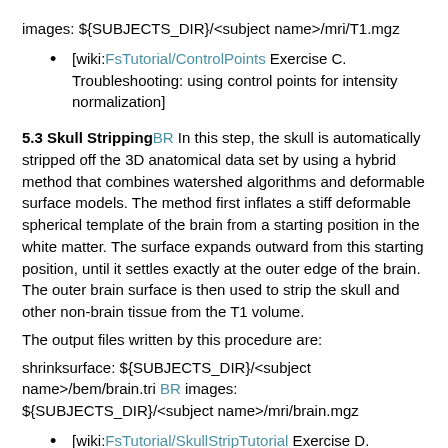images: ${SUBJECTS_DIR}/<subject name>/mri/T1.mgz
[wiki:FsTutorial/ControlPoints Exercise C. Troubleshooting: using control points for intensity normalization]
5.3 Skull Stripping
BR In this step, the skull is automatically stripped off the 3D anatomical data set by using a hybrid method that combines watershed algorithms and deformable surface models. The method first inflates a stiff deformable spherical template of the brain from a starting position in the white matter. The surface expands outward from this starting position, until it settles exactly at the outer edge of the brain. The outer brain surface is then used to strip the skull and other non-brain tissue from the T1 volume.
The output files written by this procedure are:
shrinksurface: ${SUBJECTS_DIR}/<subject name>/bem/brain.tri BR images: ${SUBJECTS_DIR}/<subject name>/mri/brain.mgz
[wiki:FsTutorial/SkullStripTutorial Exercise D. Troubleshooting: fixing bad output from skull